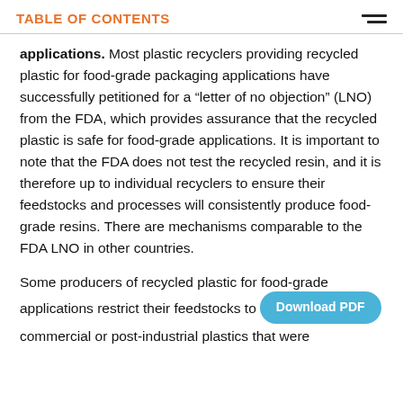TABLE OF CONTENTS
applications. Most plastic recyclers providing recycled plastic for food-grade packaging applications have successfully petitioned for a “letter of no objection” (LNO) from the FDA, which provides assurance that the recycled plastic is safe for food-grade applications. It is important to note that the FDA does not test the recycled resin, and it is therefore up to individual recyclers to ensure their feedstocks and processes will consistently produce food-grade resins. There are mechanisms comparable to the FDA LNO in other countries.
Some producers of recycled plastic for food-grade applications restrict their feedstocks to commercial or post-industrial plastics that were